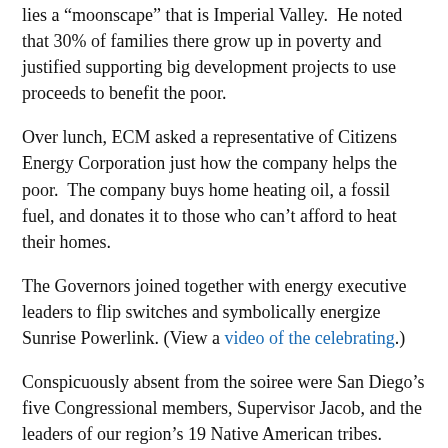lies a “moonscape” that is Imperial Valley.  He noted that 30% of families there grow up in poverty and justified supporting big development projects to use proceeds to benefit the poor.
Over lunch, ECM asked a representative of Citizens Energy Corporation just how the company helps the poor.  The company buys home heating oil, a fossil fuel, and donates it to those who can’t afford to heat their homes.
The Governors joined together with energy executive leaders to flip switches and symbolically energize Sunrise Powerlink. (View a video of the celebrating.)
Conspicuously absent from the soiree were San Diego’s five Congressional members, Supervisor Jacob, and the leaders of our region’s 19 Native American tribes.
“Any policymaker attending this “celebration” needs to justify the line in the face of documented evidence warning of its extreme
[Figure (photo): Photograph showing a tree with green foliage against a blue sky, with large plumes of grey-white smoke visible, and a power line and flag in the lower portion of the image.]